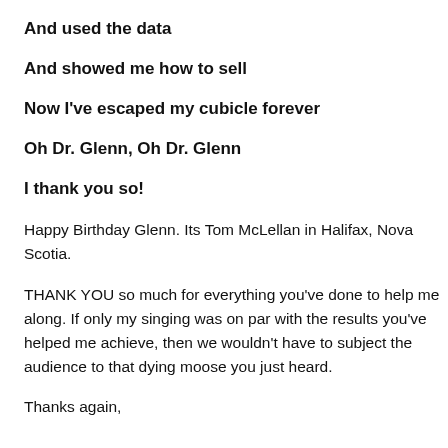And used the data
And showed me how to sell
Now I've escaped my cubicle forever
Oh Dr. Glenn, Oh Dr. Glenn
I thank you so!
Happy Birthday Glenn. Its Tom McLellan in Halifax, Nova Scotia.
THANK YOU so much for everything you've done to help me along. If only my singing was on par with the results you've helped me achieve, then we wouldn't have to subject the audience to that dying moose you just heard.
Thanks again,